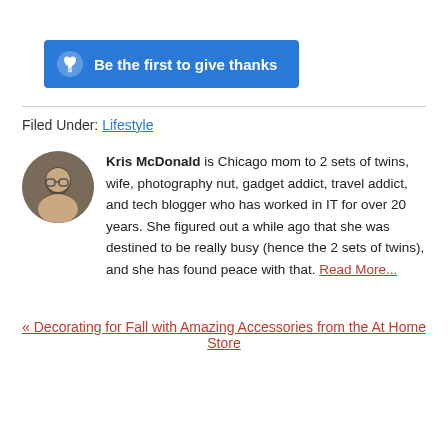[Figure (other): Blue button with heart/dollar icon: 'Be the first to give thanks']
Filed Under: Lifestyle
Kris McDonald is Chicago mom to 2 sets of twins, wife, photography nut, gadget addict, travel addict, and tech blogger who has worked in IT for over 20 years. She figured out a while ago that she was destined to be really busy (hence the 2 sets of twins), and she has found peace with that. Read More...
« Decorating for Fall with Amazing Accessories from the At Home Store